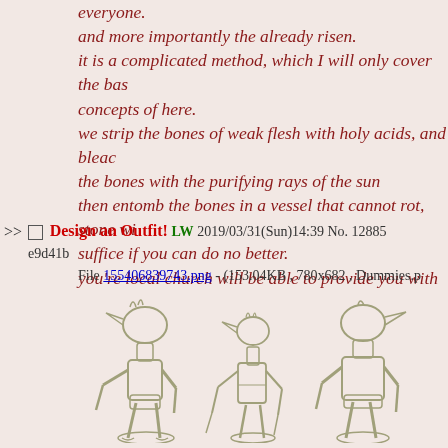everyone.
and more importantly the already risen.
it is a complicated method, which I will only cover the basic concepts of here.
we strip the bones of weak flesh with holy acids, and bleach the bones with the purifying rays of the sun
then entomb the bones in a vessel that cannot rot, stone will suffice if you can do no better.
you're local church will be able to provide you with further details, and texts on the topic.

Stay loyal to the true gods, and always strive for virtue.'
>> □ Design an Outfit! LW 2019/03/31(Sun)14:39 No. 12885 e9d41b
File 155406839743.png - (153.04KB , 780x682 , Dummies.p
[Figure (illustration): Three bird-headed humanoid mannequin figures drawn in a simple line art style with a tan/olive color scheme, shown from different angles. The figures have segmented limbs suggesting joints, bird-like heads with beaks, and stand on oval bases.]